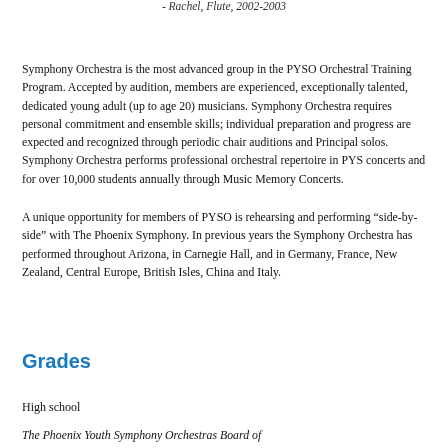- Rachel, Flute, 2002-2003
Symphony Orchestra is the most advanced group in the PYSO Orchestral Training Program. Accepted by audition, members are experienced, exceptionally talented, dedicated young adult (up to age 20) musicians. Symphony Orchestra requires personal commitment and ensemble skills; individual preparation and progress are expected and recognized through periodic chair auditions and Principal solos. Symphony Orchestra performs professional orchestral repertoire in PYS concerts and for over 10,000 students annually through Music Memory Concerts.
A unique opportunity for members of PYSO is rehearsing and performing “side-by-side” with The Phoenix Symphony. In previous years the Symphony Orchestra has performed throughout Arizona, in Carnegie Hall, and in Germany, France, New Zealand, Central Europe, British Isles, China and Italy.
Grades
High school
The Phoenix Youth Symphony Orchestras Board of